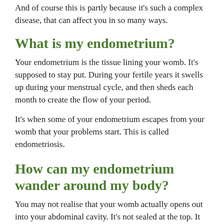And of course this is partly because it's such a complex disease, that can affect you in so many ways.
What is my endometrium?
Your endometrium is the tissue lining your womb. It's supposed to stay put. During your fertile years it swells up during your menstrual cycle, and then sheds each month to create the flow of your period.
It's when some of your endometrium escapes from your womb that your problems start. This is called endometriosis.
How can my endometrium wander around my body?
You may not realise that your womb actually opens out into your abdominal cavity. It's not sealed at the top. It has two arms – the fallopian tubes – which